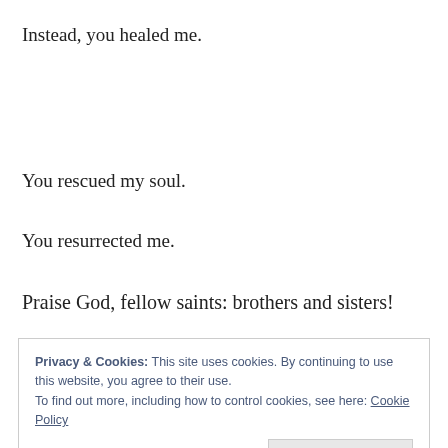Instead, you healed me.
You rescued my soul.
You resurrected me.
Praise God, fellow saints: brothers and sisters!
Privacy & Cookies: This site uses cookies. By continuing to use this website, you agree to their use.
To find out more, including how to control cookies, see here: Cookie Policy
Close and accept